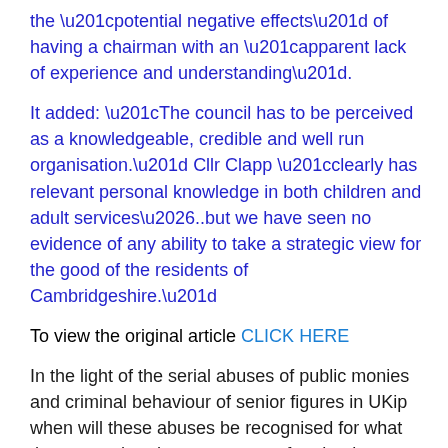the “potential negative effects” of having a chairman with an “apparent lack of experience and understanding”.
It added: “The council has to be perceived as a knowledgeable, credible and well run organisation.” Cllr Clapp “clearly has relevant personal knowledge in both children and adult services…..but we have seen no evidence of any ability to take a strategic view for the good of the residents of Cambridgeshire.”
To view the original article CLICK HERE
In the light of the serial abuses of public monies and criminal behaviour of senior figures in UKip when will these abuses be recognised for what they are rather than some sort of endearing cheeky chappie in some way acceptably on the make and the take!